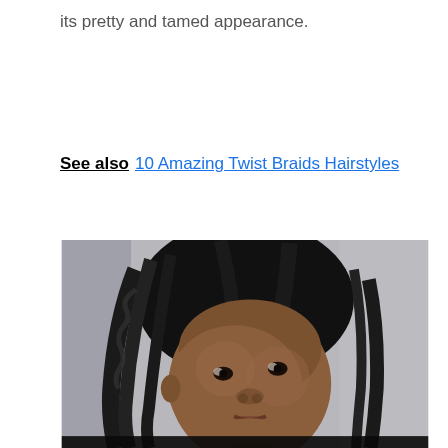its pretty and tamed appearance.
See also   10 Amazing Twist Braids Hairstyles
[Figure (photo): Close-up portrait of a Black woman with twist braids/cornrow style hairstyle, looking slightly to the side, shot against a grey background.]